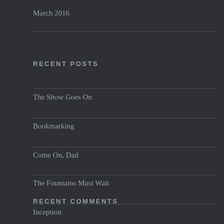March 2016
RECENT POSTS
The Show Goes On
Bookmarking
Come On, Dad
The Fountains Must Wait
Inception
RECENT COMMENTS